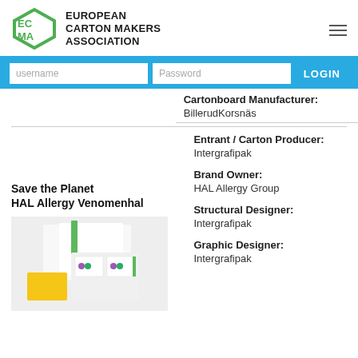EUROPEAN CARTON MAKERS ASSOCIATION
username | Password | LOGIN
Cartonboard Manufacturer: BillerudKorsnäs
Save the Planet
HAL Allergy Venomenhal
Entrant / Carton Producer: Intergrafipak
Brand Owner: HAL Allergy Group
[Figure (photo): Product photo showing HAL Allergy Venomenhal packaging boxes in white with green accents and yellow elements containing vials]
Structural Designer: Intergrafipak
Graphic Designer: Intergrafipak